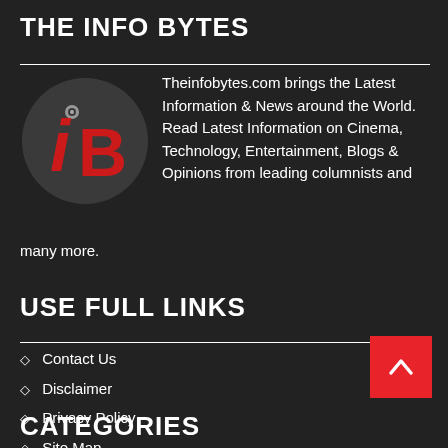THE INFO BYTES
[Figure (logo): Circular dark logo with red stylized 'iB' letters on dark grey background]
Theinfobytes.com brings the Latest Information & News around the World. Read Latest Information on Cinema, Technology, Entertainment, Blogs & Opinions from leading columnists and many more.
USE FULL LINKS
Contact Us
Disclaimer
Privacy Policy
Site Map
CATEGORIES